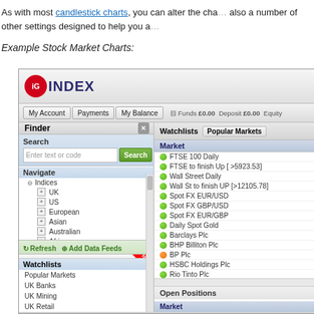As with most candlestick charts, you can alter the cha... also a number of other settings designed to help you a...
Example Stock Market Charts:
[Figure (screenshot): IG Index trading platform screenshot showing Finder panel with navigation tree for Indices (UK, US, European, Asian, Australian, African, Differential Markets, UK Sectors A-H, UK Sectors I-Z), Forex, Commodities Metals Energies, Bonds and Moneymarket; also Watchlists panel showing Popular Markets with items: FTSE 100 Daily, FTSE to finish Up [>5923.53], Wall Street Daily, Wall St to finish UP [>12105.78], Spot FX EUR/USD, Spot FX GBP/USD, Spot FX EUR/GBP, Daily Spot Gold, Barclays Plc, BHP Billiton Plc, BP Plc, HSBC Holdings Plc, Rio Tinto Plc, Daily US Light Crude (Apr), Germany 30 Daily, Deutsche Bank AG; and Open Positions section with Market header]